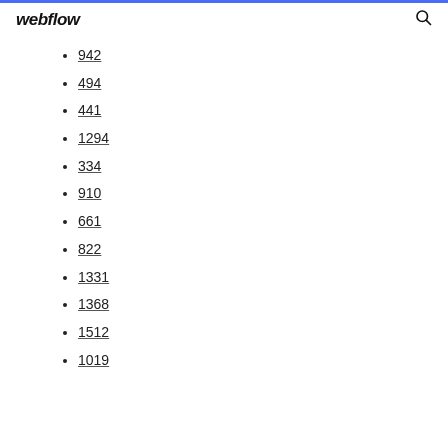webflow
942
494
441
1294
334
910
661
822
1331
1368
1512
1019